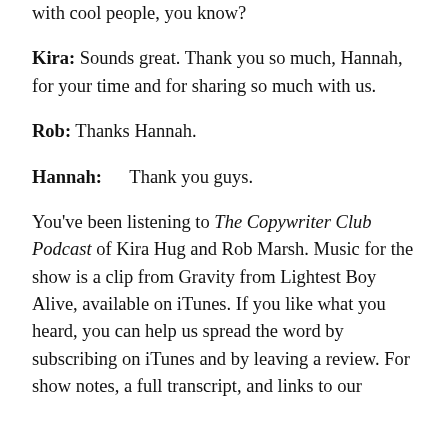with cool people, you know?
Kira:  Sounds great. Thank you so much, Hannah, for your time and for sharing so much with us.
Rob:  Thanks Hannah.
Hannah:      Thank you guys.
You've been listening to The Copywriter Club Podcast of Kira Hug and Rob Marsh. Music for the show is a clip from Gravity from Lightest Boy Alive, available on iTunes. If you like what you heard, you can help us spread the word by subscribing on iTunes and by leaving a review. For show notes, a full transcript, and links to our